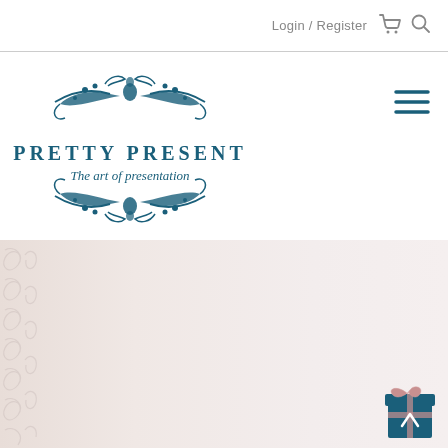Login / Register
[Figure (logo): Pretty Present logo — ornate dark teal floral/scroll decorative emblem above and below the text 'PRETTY PRESENT' with italic tagline 'The art of presentation']
[Figure (other): Hamburger menu icon (three horizontal lines) in dark teal]
[Figure (photo): Hero banner image: light pink/cream background with ornate swirl pattern on left edge and a wrapped gift box icon in the bottom-right corner (teal box with pink bow)]